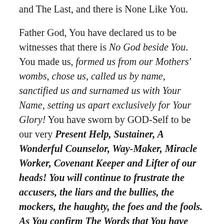and The Last, and there is None Like You.
Father God, You have declared us to be witnesses that there is No God beside You. You made us, formed us from our Mothers' wombs, chose us, called us by name, sanctified us and surnamed us with Your Name, setting us apart exclusively for Your Glory! You have sworn by GOD-Self to be our very Present Help, Sustainer, A Wonderful Counselor, Way-Maker, Miracle Worker, Covenant Keeper and Lifter of our heads! You will continue to frustrate the accusers, the liars and the bullies, the mockers, the haughty, the foes and the fools. As You confirm The Words that You have spoken over our lives. give us the treasures of darkness and hidden riches of